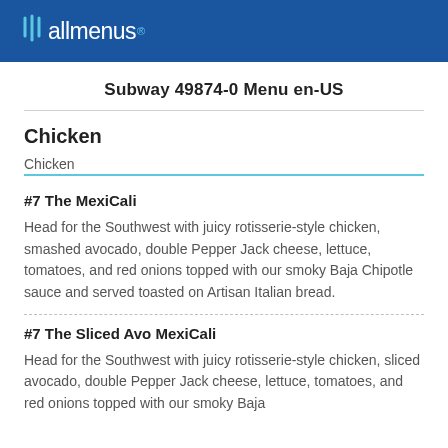allmenus®
Subway 49874-0 Menu en-US
Chicken
Chicken
#7 The MexiCali
Head for the Southwest with juicy rotisserie-style chicken, smashed avocado, double Pepper Jack cheese, lettuce, tomatoes, and red onions topped with our smoky Baja Chipotle sauce and served toasted on Artisan Italian bread.
#7 The Sliced Avo MexiCali
Head for the Southwest with juicy rotisserie-style chicken, sliced avocado, double Pepper Jack cheese, lettuce, tomatoes, and red onions topped with our smoky Baja